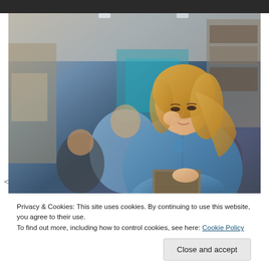[Figure (photo): A woman with blonde hair wearing a denim shirt looks down at a tablet she is holding, with her hand raised to her chin thoughtfully. In the background are several other people in what appears to be an office or collaborative workspace setting.]
Privacy & Cookies: This site uses cookies. By continuing to use this website, you agree to their use.
To find out more, including how to control cookies, see here: Cookie Policy
Close and accept